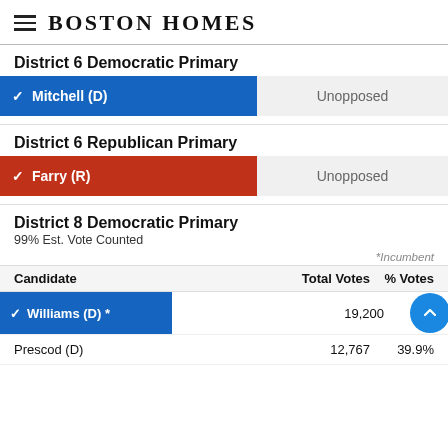Boston Homes
District 6 Democratic Primary
| Candidate | Total Votes | % Votes |
| --- | --- | --- |
| ✓ Mitchell (D) | Unopposed |  |
District 6 Republican Primary
| Candidate | Total Votes | % Votes |
| --- | --- | --- |
| ✓ Farry (R) | Unopposed |  |
District 8 Democratic Primary
99% Est. Vote Counted
*Incumbent
| Candidate | Total Votes | % Votes |
| --- | --- | --- |
| ✓ Williams (D) * | 19,200 | % |
| Prescod (D) | 12,767 | 39.9% |